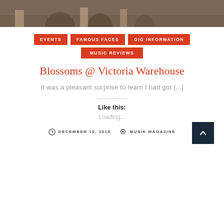[Figure (photo): Partial photo strip showing people at bottom, cropped at top of page]
EVENTS
FAMOUS FACES
GIG INFORMATION
MUSIC REVIEWS
Blossoms @ Victoria Warehouse
It was a pleasant surprise to learn I had got [...]
Like this:
Loading...
DECEMBER 10, 2018
MUSIK MAGAZINE